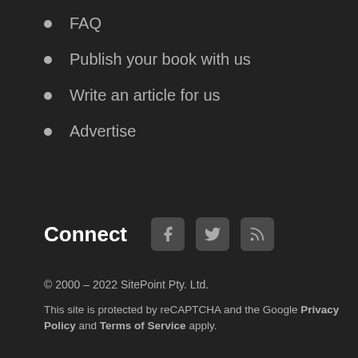FAQ
Publish your book with us
Write an article for us
Advertise
Connect
© 2000 – 2022 SitePoint Pty. Ltd.
This site is protected by reCAPTCHA and the Google Privacy Policy and Terms of Service apply.